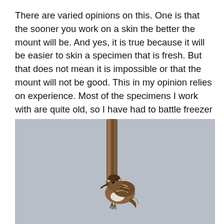There are varied opinions on this. One is that the sooner you work on a skin the better the mount will be. And yes, it is true because it will be easier to skin a specimen that is fresh. But that does not mean it is impossible or that the mount will not be good. This in my opinion relies on experience. Most of the specimens I work with are quite old, so I have had to battle freezer burn as a day to day, and yes, I have had the occasional skin that has been un-mountable.
[Figure (photo): A small brown speckled bird (appears to be a creeper or treecreeper) perched on a vertical wooden branch or post, photographed against a light grey background. The bird has a curved beak and mottled brown and white plumage.]